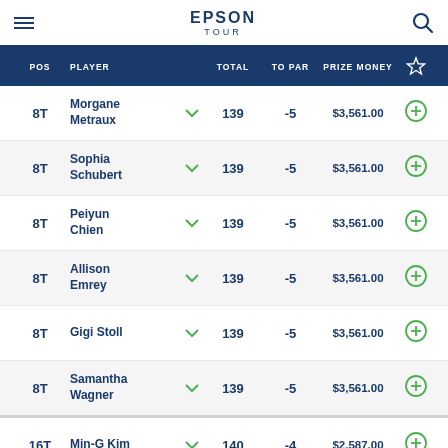EPSON TOUR
| POS | PLAYER | TOTAL | TO PAR | PRIZE MONEY |
| --- | --- | --- | --- | --- |
| 8T | Morgane Metraux | 139 | -5 | $3,561.00 |
| 8T | Sophia Schubert | 139 | -5 | $3,561.00 |
| 8T | Peiyun Chien | 139 | -5 | $3,561.00 |
| 8T | Allison Emrey | 139 | -5 | $3,561.00 |
| 8T | Gigi Stoll | 139 | -5 | $3,561.00 |
| 8T | Samantha Wagner | 139 | -5 | $3,561.00 |
| 16T | Min-G Kim | 140 | -4 | $2,587.00 |
TOP STORIES